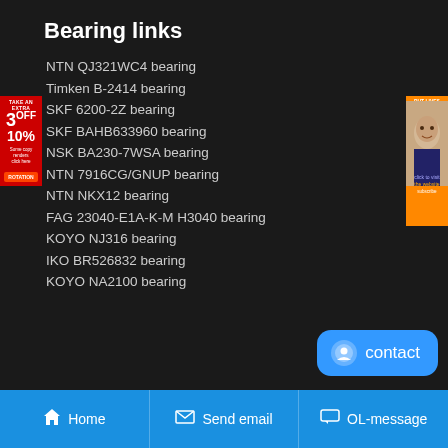Bearing links
NTN QJ321WC4 bearing
Timken B-2414 bearing
SKF 6200-2Z bearing
SKF BAHB633960 bearing
NSK BA230-7WSA bearing
NTN 7916CG/GNUP bearing
NTN NKX12 bearing
FAG 23040-E1A-K-M H3040 bearing
KOYO NJ316 bearing
IKO BR526832 bearing
KOYO NA2100 bearing
[Figure (other): Left advertisement banner with red background showing '3 OFF 10%' promotional text]
[Figure (other): Right advertisement banner showing a woman's face]
[Figure (other): Blue contact button with smiley icon and 'contact' text]
Home | Send email | OL-message